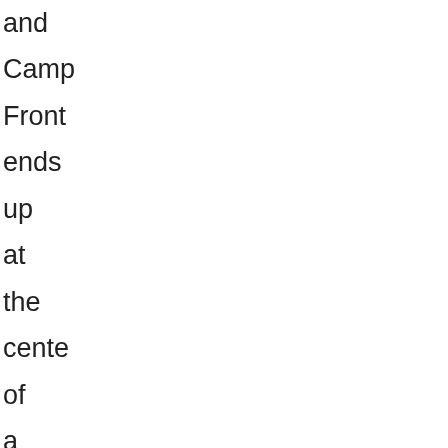and Campaign Front ends up at the center of a media storm forcing Gen to evaluate her opinion on technology and the campaign itself.